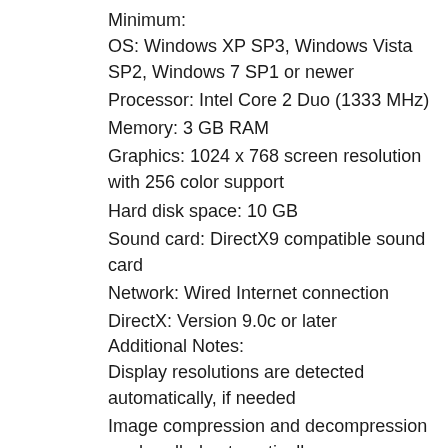Minimum:
OS: Windows XP SP3, Windows Vista SP2, Windows 7 SP1 or newer
Processor: Intel Core 2 Duo (1333 MHz)
Memory: 3 GB RAM
Graphics: 1024 x 768 screen resolution with 256 color support
Hard disk space: 10 GB
Sound card: DirectX9 compatible sound card
Network: Wired Internet connection
DirectX: Version 9.0c or later
Additional Notes:
Display resolutions are detected automatically, if needed
Image compression and decompression are handled automatically
https://www.realteqs.com/teqsplus/upload/files/2022/06/XTF7XVnYb9pt8LvZ9wmA_08_eae4e3c72ea3fa2b491